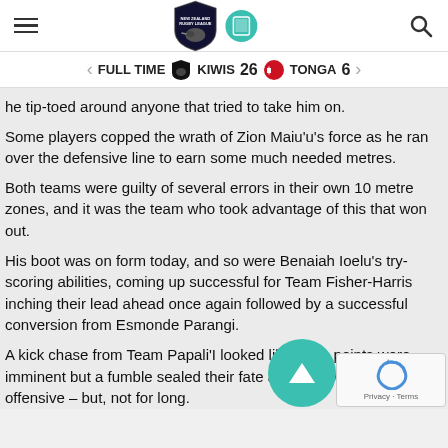[Figure (logo): New Zealand Rugby League logo (shield with kiwi bird) and a tablet/screen icon]
FULL TIME   KIWIS 26   TONGA 6
he tip-toed around anyone that tried to take him on.
Some players copped the wrath of Zion Maiu'u's force as he ran over the defensive line to earn some much needed metres.
Both teams were guilty of several errors in their own 10 metre zones, and it was the team who took advantage of this that won out.
His boot was on form today, and so were Benaiah Ioelu's try-scoring abilities, coming up successful for Team Fisher-Harris inching their lead ahead once again followed by a successful conversion from Esmonde Parangi.
A kick chase from Team Papali'I looked like more points were imminent but a fumble sealed their fate and they were back on offensive – but, not for long.